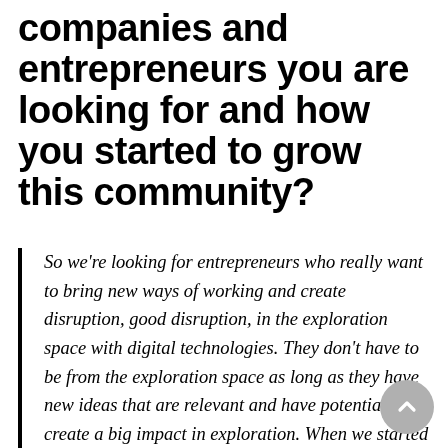companies and entrepreneurs you are looking for and how you started to grow this community?
So we're looking for entrepreneurs who really want to bring new ways of working and create disruption, good disruption, in the exploration space with digital technologies. They don't have to be from the exploration space as long as they have new ideas that are relevant and have potential to create a big impact in exploration. When we started out looking for great startups in this space, it was actually